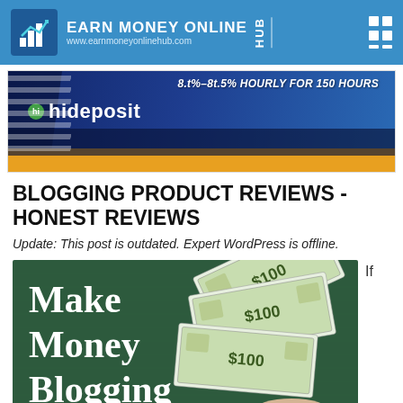EARN MONEY ONLINE HUB | www.earnmoneyonlinehub.com
[Figure (illustration): hideposit banner advertisement with blue and gold background, text reading partial URL and hideposit logo]
BLOGGING PRODUCT REVIEWS - HONEST REVIEWS
Update: This post is outdated. Expert WordPress is offline.
[Figure (photo): Green chalkboard background with white bold text Make Money Blogging and a hand holding fanned US dollar bills]